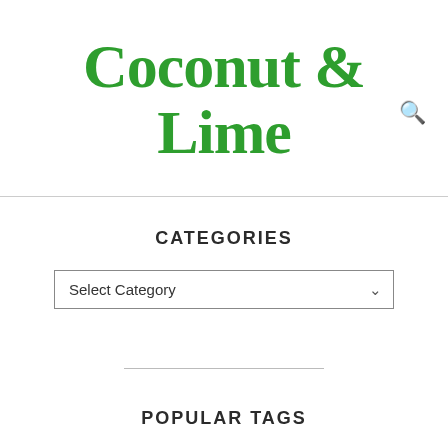Coconut & Lime
CATEGORIES
Select Category
POPULAR TAGS